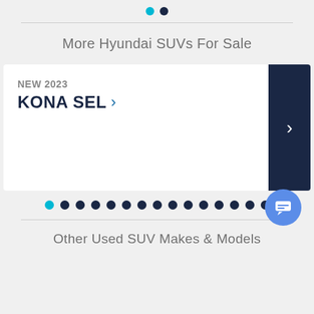[Figure (other): Pagination dots: one cyan/teal dot and one dark navy dot indicating slide position]
More Hyundai SUVs For Sale
NEW 2023
KONA SEL >
[Figure (other): Carousel pagination: 15 dots, first dot is cyan/active, remaining 14 are dark navy/inactive]
Other Used SUV Makes & Models